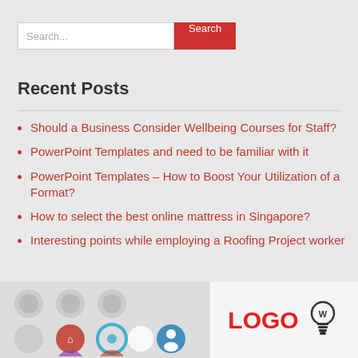Search...
Recent Posts
Should a Business Consider Wellbeing Courses for Staff?
PowerPoint Templates and need to be familiar with it
PowerPoint Templates – How to Boost Your Utilization of a Format?
How to select the best online mattress in Singapore?
Interesting points while employing a Roofing Project worker
[Figure (screenshot): Bottom section showing social media icons on the left and a LOGO with lightbulb icon on the right]